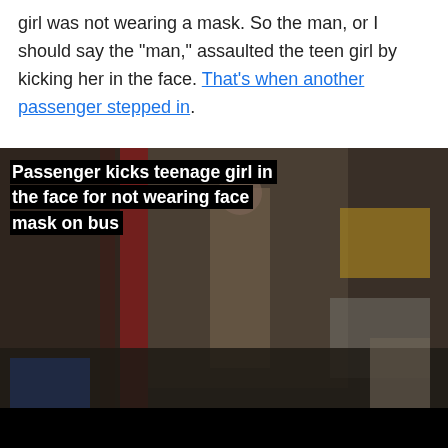girl was not wearing a mask. So the man, or I should say the "man," assaulted the teen girl by kicking her in the face. That's when another passenger stepped in.
[Figure (screenshot): Video screenshot showing blurred scene inside a bus with people. A black overlay text banner reads: 'Passenger kicks teenage girl in the face for not wearing face mask on bus'. The scene shows passengers and bus interior with red poles visible.]